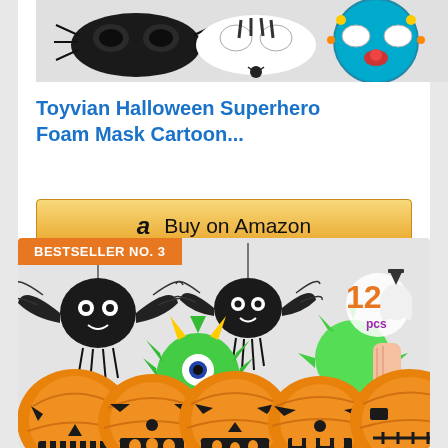[Figure (photo): Halloween superhero foam masks including black spider mask, zebra mask, and colorful clown/decorative mask]
Toyvian Halloween Superhero Foam Mask Cartoon...
[Figure (screenshot): Buy on Amazon button with Amazon logo]
BESTSELLER NO. 3
[Figure (photo): Halloween toys including black bat figures, green monster squeeze toys, 12 pcs label, and jack-o-lantern pumpkins along the bottom]